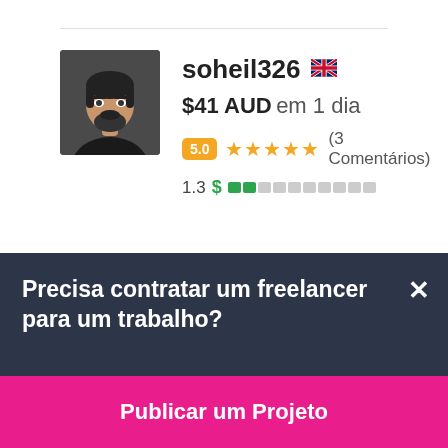[Figure (photo): Profile photo of user soheil326, a man with dark hair and a beard wearing a black jacket]
soheil326 🇬🇧
$41 AUD em 1 dia
5.0 ★★★★★ (3 Comentários)
1.3 $ ██░░░░░░░░
[Figure (photo): Partially visible profile photo of a second user]
Precisa contratar um freelancer para um trabalho?
Publicar um Projeto